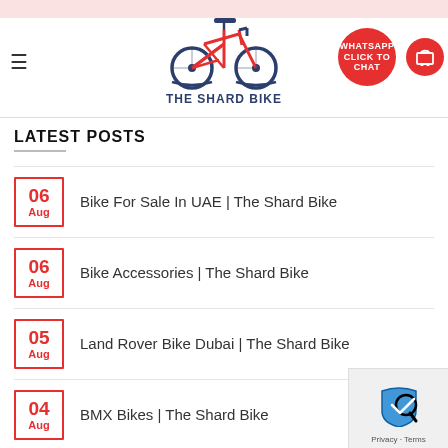THE SHARD BIKE — WHATSAPP CLICK TO CHAT
LATEST POSTS
06 Aug — Bike For Sale In UAE | The Shard Bike
06 Aug — Bike Accessories | The Shard Bike
05 Aug — Land Rover Bike Dubai | The Shard Bike
04 Aug — BMX Bikes | The Shard Bike
04 Aug — Hybrid Bike | The Shard Bike